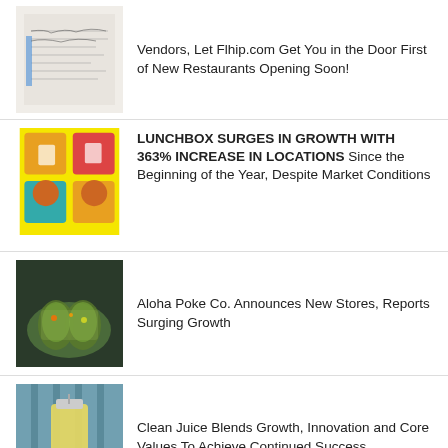[Figure (photo): Handwritten document/paper thumbnail]
Vendors, Let Flhip.com Get You in the Door First of New Restaurants Opening Soon!
[Figure (photo): Colorful food items on yellow background thumbnail]
LUNCHBOX SURGES IN GROWTH WITH 363% INCREASE IN LOCATIONS Since the Beginning of the Year, Despite Market Conditions
[Figure (photo): Hands holding poke bowl ingredients thumbnail]
Aloha Poke Co. Announces New Stores, Reports Surging Growth
[Figure (photo): Juice drink on striped background thumbnail]
Clean Juice Blends Growth, Innovation and Core Values To Achieve Continued Success
[Figure (photo): Fried food dish thumbnail]
Razzoo's Cajun Cafe Launches Pumpkin Spice Old Fashioned and Canal Street Combo
[Figure (photo): Dark restaurant interior thumbnail]
Arooga's Grille House & Sports Bar is